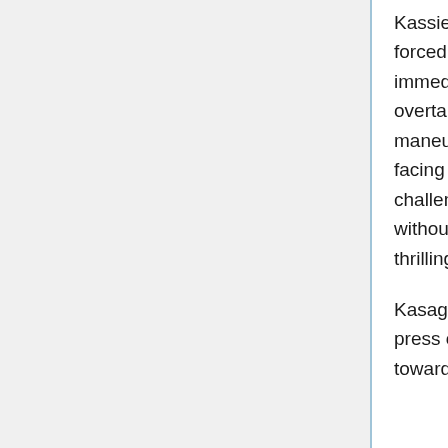Kassie gives Nori a slight lead, given her companion, but all three are forced to contend with things. This slope is steeper, quicker, and an immediate acceleration. Those who take this course are swiftly overtaking those on the left one, yet have more room overall in maneuvering. It's a far more windy course, as there's a double-turn facing the more experienced (and one kidnapped homuguin!) to challenge! A right, then left bank one has to lean in to get across without falling! The speed is blistering, the cold cutting cheeks, yet thrilling!
Kasagami, for her part, tries to urge Homura forward. She means to press on, cut through snow towards that seemingly impossible drop towards an